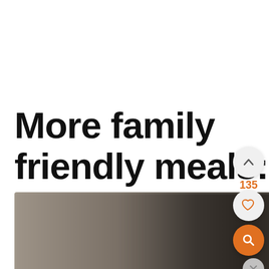More family friendly meals:
[Figure (photo): Blurred photo of a kitchen appliance (pressure cooker or instant pot) on a counter]
[Figure (other): UI overlay buttons: chevron-up button, count 135, heart/favorite button, orange search button, close button]